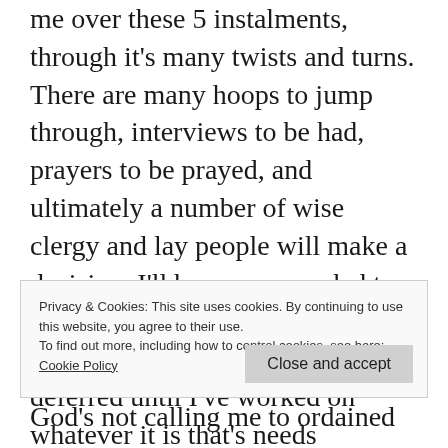me over these 5 instalments, through it's many twists and turns. There are many hoops to jump through, interviews to be had, prayers to be prayed, and ultimately a number of wise clergy and lay people will make a decision. I'll be recommended to train for ordained ministry, or I won't... or option three, I'll be deferred until I've worked on whatever it is that's needs developing
Privacy & Cookies: This site uses cookies. By continuing to use this website, you agree to their use.
To find out more, including how to control cookies, see here: Cookie Policy
God's not calling me to ordained